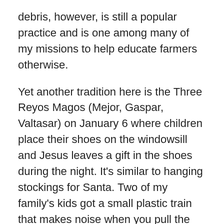debris, however, is still a popular practice and is one among many of my missions to help educate farmers otherwise.
Yet another tradition here is the Three Reyos Magos (Mejor, Gaspar, Valtasar) on January 6 where children place their shoes on the windowsill and Jesus leaves a gift in the shoes during the night. It's similar to hanging stockings for Santa. Two of my family's kids got a small plastic train that makes noise when you pull the string. The girls have been thrilled with this single, simple gift and ran excitedly throughout the house showing all of us the following morning.
This week´s headliner was a small tree frog peeking out from under the rim of the toilet as I entered the bathroom. If it hadn't been for someone leaving the seat up as well